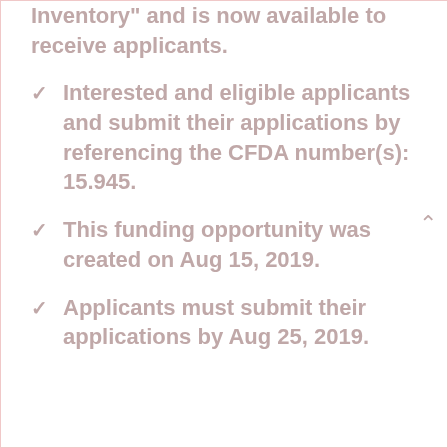Inventory" and is now available to receive applicants.
Interested and eligible applicants and submit their applications by referencing the CFDA number(s): 15.945.
This funding opportunity was created on Aug 15, 2019.
Applicants must submit their applications by Aug 25, 2019.